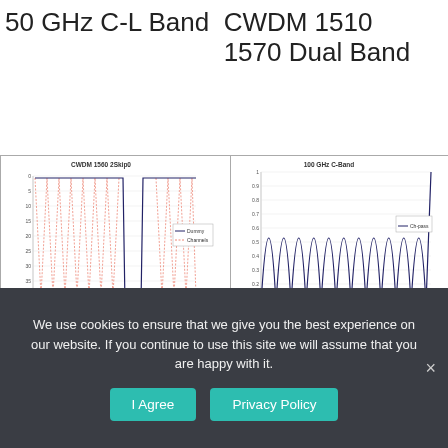50 GHz C-L Band
CWDM 1510 1570 Dual Band
[Figure (continuous-plot): CWDM 1560 2Skip0 transmittance vs wavelength chart showing two colored band regions (red/pink curves) and a sharp narrow notch (blue curve) around 1560 nm wavelength. X-axis: Wavelength (nm), Y-axis: Transmittance (dB). Legend shows Dummy and Channels.]
[Figure (continuous-plot): 100 GHz C-Band transmittance vs frequency chart showing repeating sinusoidal-like peaks (blue curve) across the C-Band frequency range ~193 to 194 THz. X-axis: Frequency (THz), Y-axis: Transmittance. Legend shows Ch-pass.]
We use cookies to ensure that we give you the best experience on our website. If you continue to use this site we will assume that you are happy with it.